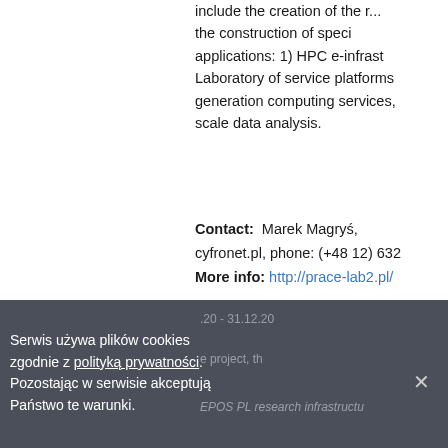include the creation of the r... the construction of speci... applications: 1) HPC e-infrast... Laboratory of service platforms... generation computing services,... scale data analysis.
Contact: Marek Magryś, ... cyfronet.pl, phone: (+48 12) 632... More info: http://prace-lab2.pl/
Serwis używa plików cookies zgodnie z polityką prywatności. Pozostając w serwisie akceptują Państwo te warunki.